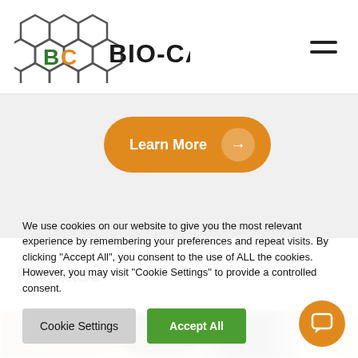[Figure (logo): BIO-CAT logo with hexagonal honeycomb pattern and 'BC BIO-CAT' text]
[Figure (other): Hamburger menu icon (two horizontal lines)]
[Figure (other): Orange 'Learn More' button with arrow circle]
Phytase
[Figure (photo): Partially visible blurred photo strip]
We use cookies on our website to give you the most relevant experience by remembering your preferences and repeat visits. By clicking "Accept All", you consent to the use of ALL the cookies. However, you may visit "Cookie Settings" to provide a controlled consent.
Cookie Settings
Accept All